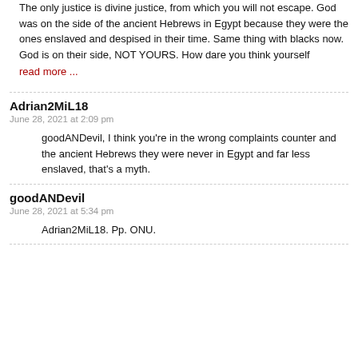The only justice is divine justice, from which you will not escape. God was on the side of the ancient Hebrews in Egypt because they were the ones enslaved and despised in their time. Same thing with blacks now. God is on their side, NOT YOURS. How dare you think yourself
read more ...
Adrian2MiL18
June 28, 2021 at 2:09 pm
goodANDevil, I think you're in the wrong complaints counter and the ancient Hebrews they were never in Egypt and far less enslaved, that's a myth.
goodANDevil
June 28, 2021 at 5:34 pm
Adrian2MiL18. Pp. ONU.